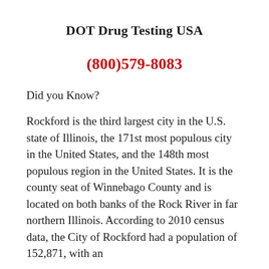DOT Drug Testing USA
(800)579-8083
Did you Know?
Rockford is the third largest city in the U.S. state of Illinois, the 171st most populous city in the United States, and the 148th most populous region in the United States. It is the county seat of Winnebago County and is located on both banks of the Rock River in far northern Illinois. According to 2010 census data, the City of Rockford had a population of 152,871, with an